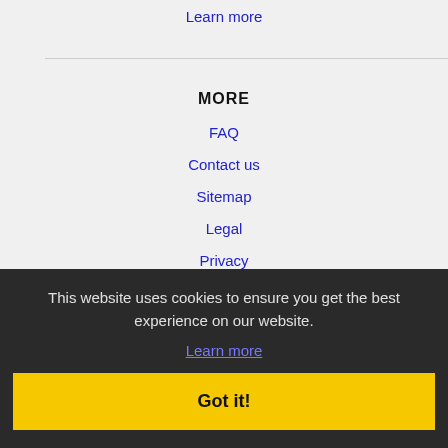Learn more
MORE
FAQ
Contact us
Sitemap
Legal
Privacy
Alhambra, CA Jobs
Aliso Viejo, CA Jobs
Altadena, CA Jobs
Anaheim, CA Jobs
Apple Valley, CA Jobs
This website uses cookies to ensure you get the best experience on our website.
Learn more
Got it!